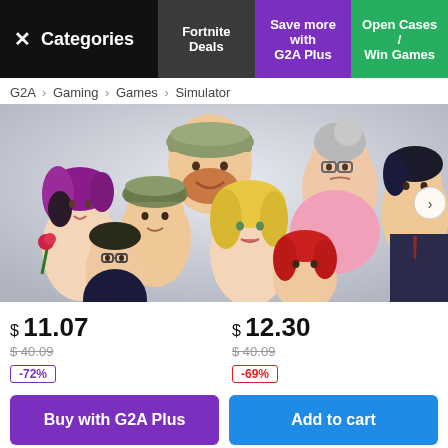× Categories | Fortnite Deals | Save more with G2A Plus | Open Cases / Win Games
G2A › Gaming › Games › Simulator
[Figure (illustration): Animated Sims-style characters group photo with diverse characters including people with different hair colors, hats, glasses. A right arrow navigation button is visible on the right side.]
$ 11.07
$ 40.09 (strikethrough)
-72%
$ 12.30
$ 40.09 (strikethrough)
-69%
Buy with G2A Plus
Add to cart